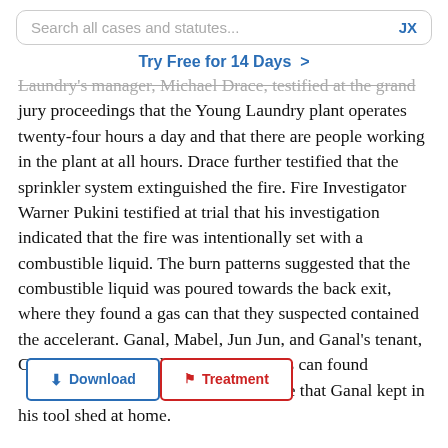Search all cases and statutes... JX
Try Free for 14 Days >
Laundry's manager, Michael Drace, testified at the grand jury proceedings that the Young Laundry plant operates twenty-four hours a day and that there are people working in the plant at all hours. Drace further testified that the sprinkler system extinguished the fire. Fire Investigator Warner Pukini testified at trial that his investigation indicated that the fire was intentionally set with a combustible liquid. The burn patterns suggested that the combustible liquid was poured towards the back exit, where they found a gas can that they suspected contained the accelerant. Ganal, Mabel, Jun Jun, and Ganal's tenant, Charles Robinson, all identified the gas can found [Download] [Treatment] ing similar to one that Ganal kept in his tool shed at home.